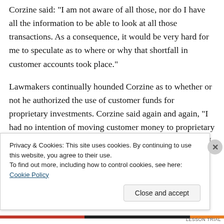Corzine said: "I am not aware of all those, nor do I have all the information to be able to look at all those transactions. As a consequence, it would be very hard for me to speculate as to where or why that shortfall in customer accounts took place."
Lawmakers continually hounded Corzine as to whether or not he authorized the use of customer funds for proprietary investments. Corzine said again and again, “I had no intention of moving customer money to proprietary accounts.” “There is no intention, under any context that I can think of, that I was authorizing tapping into segregated
Privacy & Cookies: This site uses cookies. By continuing to use this website, you agree to their use.
To find out more, including how to control cookies, see here: Cookie Policy